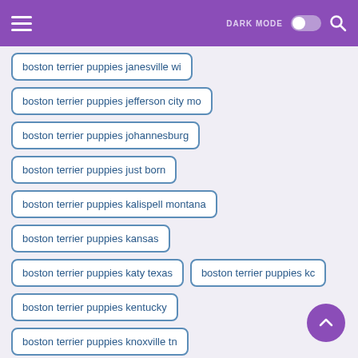DARK MODE [toggle] [search]
boston terrier puppies janesville wi
boston terrier puppies jefferson city mo
boston terrier puppies johannesburg
boston terrier puppies just born
boston terrier puppies kalispell montana
boston terrier puppies kansas
boston terrier puppies katy texas
boston terrier puppies kc
boston terrier puppies kentucky
boston terrier puppies knoxville tn
boston terrier puppies ksl
boston terrier puppies ky